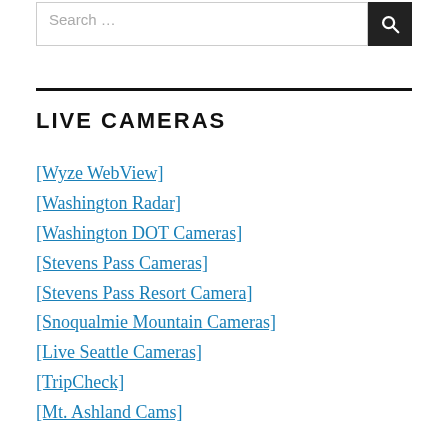Search …
LIVE CAMERAS
[Wyze WebView]
[Washington Radar]
[Washington DOT Cameras]
[Stevens Pass Cameras]
[Stevens Pass Resort Camera]
[Snoqualmie Mountain Cameras]
[Live Seattle Cameras]
[TripCheck]
[Mt. Ashland Cams]